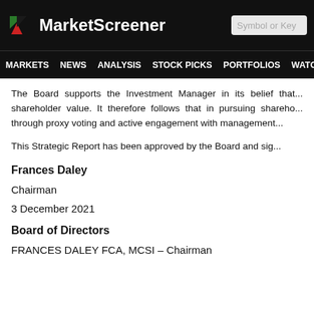MarketScreener | Symbol or Key
MARKETS NEWS ANALYSIS STOCK PICKS PORTFOLIOS WATCHLI
The Board supports the Investment Manager in its belief that... shareholder value. It therefore follows that in pursuing shareho... through proxy voting and active engagement with management...
This Strategic Report has been approved by the Board and sig...
Frances Daley
Chairman
3 December 2021
Board of Directors
FRANCES DALEY FCA, MCSI – Chairman